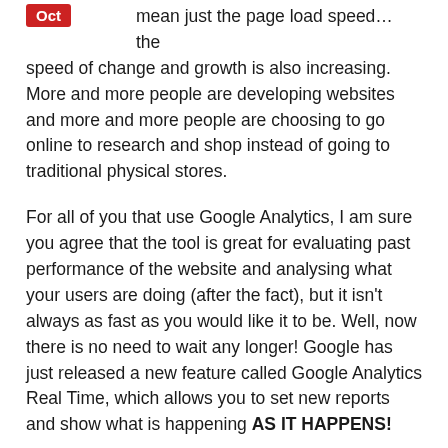Oct [badge] mean just the page load speed... the speed of change and growth is also increasing. More and more people are developing websites and more and more people are choosing to go online to research and shop instead of going to traditional physical stores.
For all of you that use Google Analytics, I am sure you agree that the tool is great for evaluating past performance of the website and analysing what your users are doing (after the fact), but it isn't always as fast as you would like it to be. Well, now there is no need to wait any longer! Google has just released a new feature called Google Analytics Real Time, which allows you to set new reports and show what is happening AS IT HAPPENS!